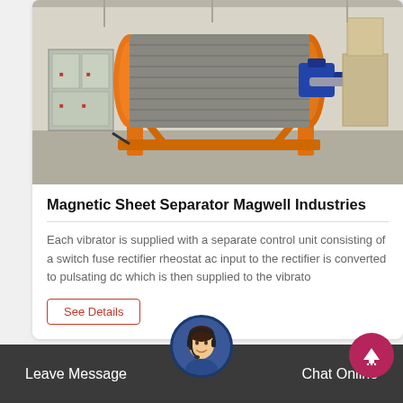[Figure (photo): Industrial magnetic drum separator/magnetic sheet separator machine on orange metal frame in a factory setting. Large cylindrical drum with orange housing and blue motor visible.]
Magnetic Sheet Separator Magwell Industries
Each vibrator is supplied with a separate control unit consisting of a switch fuse rectifier rheostat ac input to the rectifier is converted to pulsating dc which is then supplied to the vibrato
See Details
Leave Message
Chat Online